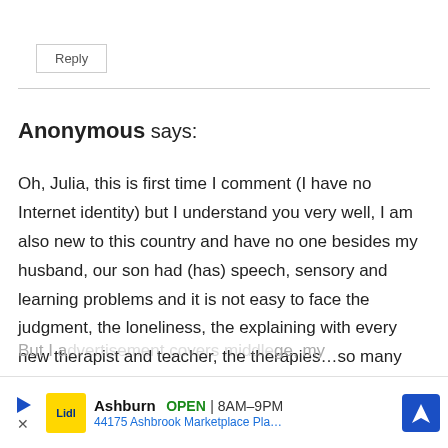Reply
Anonymous says:
Oh, Julia, this is first time I comment (I have no Internet identity) but I understand you very well, I am also new to this country and have no one besides my husband, our son had (has) speech, sensory and learning problems and it is not easy to face the judgment, the loneliness, the explaining with every new therapist and teacher, the therapies…so many things.
But I a[dvertisement overlay]ge, my
[Figure (screenshot): Advertisement banner for Lidl store in Ashburn showing logo, OPEN status, hours 8AM-9PM, and address 44175 Ashbrook Marketplace Pla...]